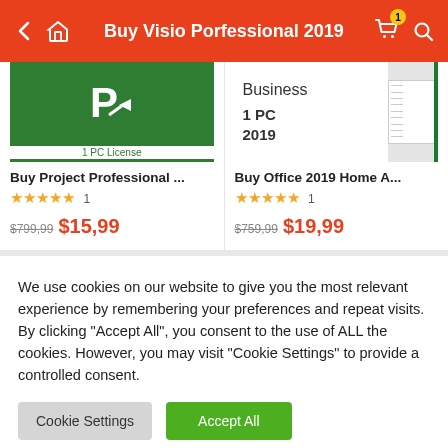Buy Visio Porfessional 2019
[Figure (screenshot): Buy Project Professional product card with green logo, 1 PC License text, 5-star rating (1 review), old price $799,99 crossed out, new price $15,99 in red]
[Figure (screenshot): Buy Office 2019 Home A... product card with Business 1 PC 2019 image, 5-star rating (1 review), old price $759,99 crossed out, new price $19,99 in red]
We use cookies on our website to give you the most relevant experience by remembering your preferences and repeat visits. By clicking "Accept All", you consent to the use of ALL the cookies. However, you may visit "Cookie Settings" to provide a controlled consent.
Cookie Settings | Accept All